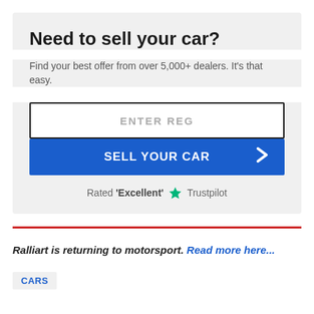Need to sell your car?
Find your best offer from over 5,000+ dealers. It's that easy.
[Figure (other): Car registration input box with placeholder text 'ENTER REG', followed by a blue 'SELL YOUR CAR' button with a chevron arrow, and a Trustpilot 'Excellent' rating row below.]
Rated 'Excellent' ★ Trustpilot
Ralliart is returning to motorsport. Read more here...
CARS